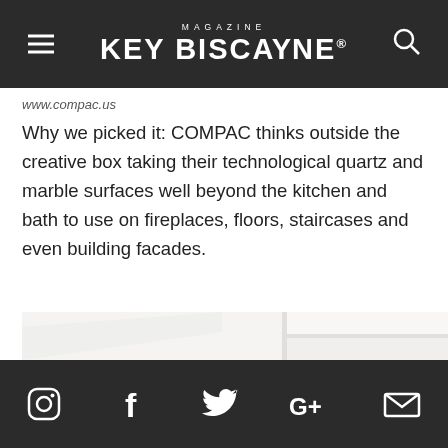MAGAZINE KEY BISCAYNE
www.compac.us
Why we picked it: COMPAC thinks outside the creative box taking their technological quartz and marble surfaces well beyond the kitchen and bath to use on fireplaces, floors, staircases and even building facades.
[Figure (photo): Light gray/white quartz or marble surface tiles arranged in a grid pattern, showing texture and panel layout]
Social media icons: Instagram, Facebook, Twitter, Google+, Email